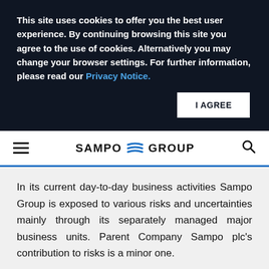This site uses cookies to offer you the best user experience. By continuing browsing this site you agree to the use of cookies. Alternatively you may change your browser settings. For further information, please read our Privacy Notice.
I AGREE
SAMPO GROUP
In its current day-to-day business activities Sampo Group is exposed to various risks and uncertainties mainly through its separately managed major business units. Parent Company Sampo plc's contribution to risks is a minor one.
Major risks affecting the Group companies'